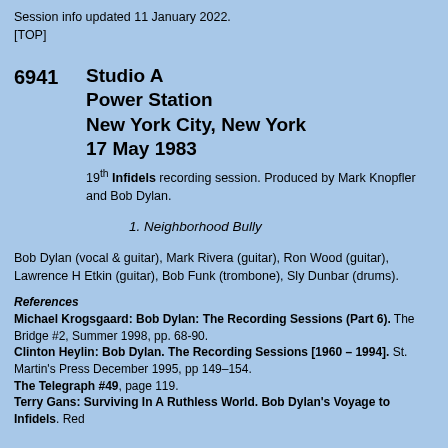Session info updated 11 January 2022.
[TOP]
6941   Studio A
Power Station
New York City, New York
17 May 1983
19th Infidels recording session. Produced by Mark Knopfler and Bob Dylan.
1. Neighborhood Bully
Bob Dylan (vocal & guitar), Mark Rivera (guitar), Ron Wood (guitar), Lawrence H Etkin (guitar), Bob Funk (trombone), Sly Dunbar (drums).
References
Michael Krogsgaard: Bob Dylan: The Recording Sessions (Part 6). The Bridge #2, Summer 1998, pp. 68-90.
Clinton Heylin: Bob Dylan. The Recording Sessions [1960 – 1994]. St. Martin's Press December 1995, pp 149–154.
The Telegraph #49, page 119.
Terry Gans: Surviving In A Ruthless World. Bob Dylan's Voyage to Infidels. Red